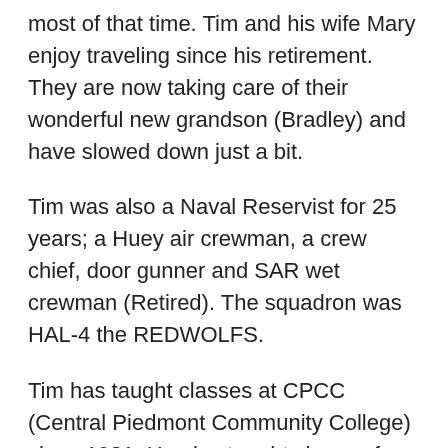most of that time. Tim and his wife Mary enjoy traveling since his retirement. They are now taking care of their wonderful new grandson (Bradley) and have slowed down just a bit.
Tim was also a Naval Reservist for 25 years; a Huey air crewman, a crew chief, door gunner and SAR wet crewman (Retired). The squadron was HAL-4 the REDWOLFS.
Tim has taught classes at CPCC (Central Piedmont Community College) since 1981. He also taught classes for homeowners on how to wire their own homes. This class was also used for 'green' electrical helpers. He has also taught second and fourth-year apprenticeship classes and code seminars for electricians taking their